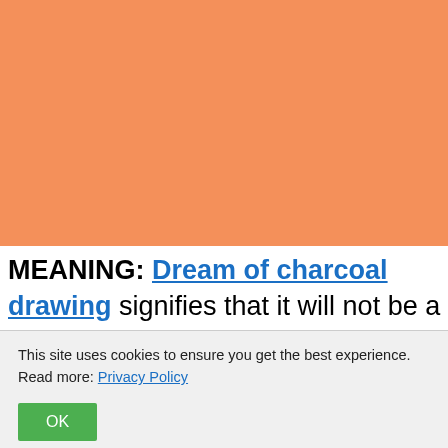[Figure (illustration): Large orange/salmon colored rectangle filling the top portion of the page]
MEANING: Dream of charcoal drawing signifies that it will not be a particularly quiet day with the
This site uses cookies to ensure you get the best experience. Read more: Privacy Policy
OK